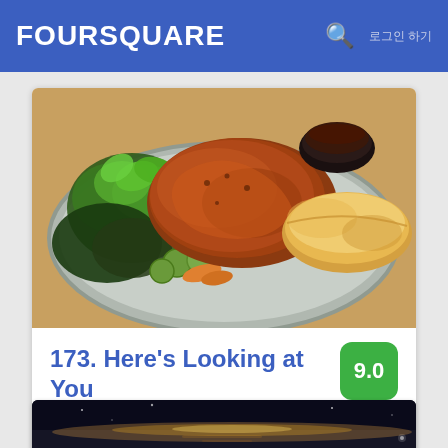FOURSQUARE
[Figure (photo): Food photo: Vietnamese-style dish with grilled/fried meat, fresh herbs (basil, lettuce), sliced cucumbers, pickled carrots, and a bread roll on a metal plate with dipping sauce]
173. Here's Looking at You
3901 W 6th St, 로스앤젤레스, CA
이 동네의 음식점 저장 · Wilshire Center - Koreatown · 23분의 소요 시간
[Figure (photo): Partial photo of a dark landscape scene, partially visible at bottom of page]